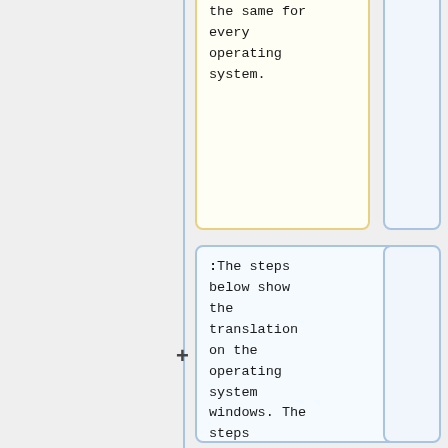the same for every operating system.
:The steps below show the translation on the operating system windows. The steps however are pretty much generally the same for every operating system.